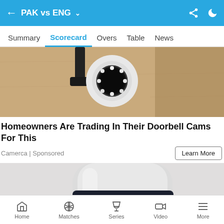PAK vs ENG
Summary  Scorecard  Overs  Table  News
[Figure (photo): Security camera mounted on a wall — doorbell cam advertisement image]
Homeowners Are Trading In Their Doorbell Cams For This
Camerca | Sponsored
[Figure (photo): White supplement bottle with dark label reading MINDFULLYROBUST TIME TO SLEEP with moon and stars graphic]
Home  Matches  Series  Video  More